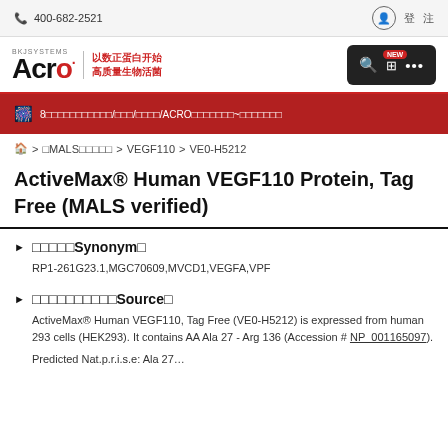400-682-2521
[Figure (logo): ACRO Biosystems logo with Chinese text and search/menu bar]
8□□□□□□□□□□□/□□□/□□□□/ACRO□□□□□□□~□□□□□□□
🏠 > □MALS□□□□□ > VEGF110 > VE0-H5212
ActiveMax® Human VEGF110 Protein, Tag Free (MALS verified)
□□□□□Synonym□
RP1-261G23.1,MGC70609,MVCD1,VEGFA,VPF
□□□□□□□□□□Source□
ActiveMax® Human VEGF110, Tag Free (VE0-H5212) is expressed from human 293 cells (HEK293). It contains AA Ala 27 - Arg 136 (Accession # NP_001165097).
Predicted Molecular: Ala 27...